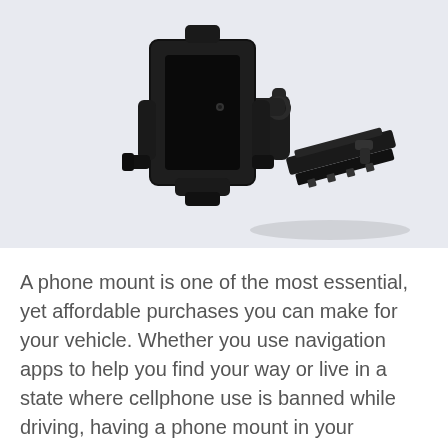[Figure (photo): A black car phone mount / holder device with a CD slot mount mechanism, shown on a light blue-grey background. The mount has an adjustable grip arm, a rectangular frame for holding a phone, and a clip mechanism for inserting into a car CD slot.]
A phone mount is one of the most essential, yet affordable purchases you can make for your vehicle. Whether you use navigation apps to help you find your way or live in a state where cellphone use is banned while driving, having a phone mount in your